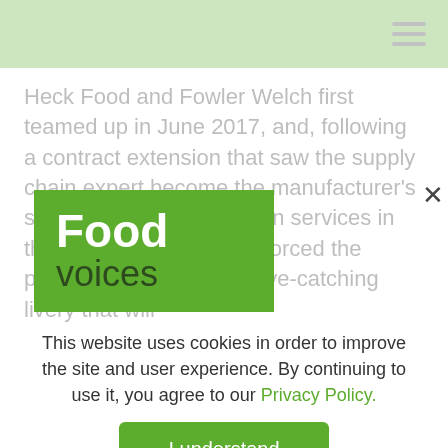Heck Food and Fowler Welch first teamed up in June 2017, and, following a contract extension that saw the supply chain expert become the manufacturer's sole supplier of distribution services in the UK, have further reinforced the partnership by creating eye-catching livery that will
[Figure (logo): Food voices logo — green background with 'Food' in bold white text and 'voices' in dark green text below]
This website uses cookies in order to improve the site and user experience. By continuing to use it, you agree to our Privacy Policy.
I understand